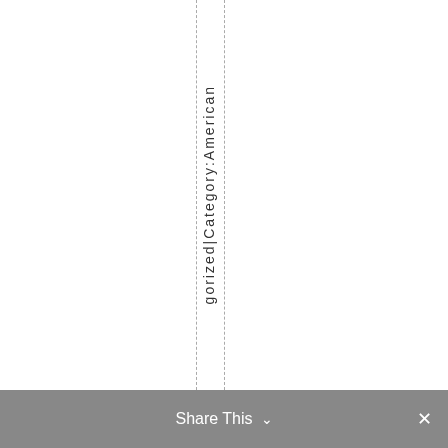gorizedlCategory:American
Share This ∨  ×